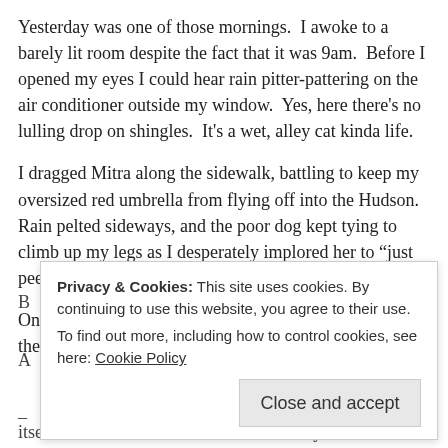Yesterday was one of those mornings. I awoke to a barely lit room despite the fact that it was 9am. Before I opened my eyes I could hear rain pitter-pattering on the air conditioner outside my window. Yes, here there's no lulling drop on shingles. It's a wet, alley cat kinda life.
I dragged Mitra along the sidewalk, battling to keep my oversized red umbrella from flying off into the Hudson. Rain pelted sideways, and the poor dog kept tying to climb up my legs as I desperately implored her to “just pee, pee please, baby, and then we can go inside”.
Only seconds later, defeated, the dog unrelieved, I closed the umbrella and we sprinted back home.
Privacy & Cookies: This site uses cookies. By continuing to use this website, you agree to their use.
To find out more, including how to control cookies, see here: Cookie Policy